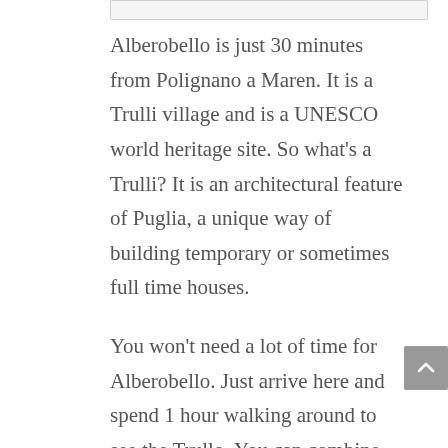[Figure (other): Top decorative bar/image element (partially visible at top of page)]
Alberobello is just 30 minutes from Polignano a Maren. It is a Trulli village and is a UNESCO world heritage site. So what's a Trulli? It is an architectural feature of Puglia, a unique way of building temporary or sometimes full time houses.

You won't need a lot of time for Alberobello. Just arrive here and spend 1 hour walking around to see the Trullo. You can combine Alberobello